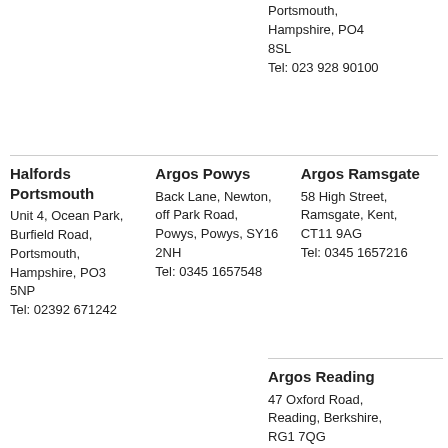Portsmouth, Hampshire, PO4 8SL
Tel: 023 928 90100
Halfords Portsmouth
Unit 4, Ocean Park, Burfield Road, Portsmouth, Hampshire, PO3 5NP
Tel: 02392 671242
Argos Powys
Back Lane, Newton, off Park Road, Powys, Powys, SY16 2NH
Tel: 0345 1657548
Argos Ramsgate
58 High Street, Ramsgate, Kent, CT11 9AG
Tel: 0345 1657216
Argos Reading
47 Oxford Road, Reading, Berkshire, RG1 7QG
Tel: 0345 1657422